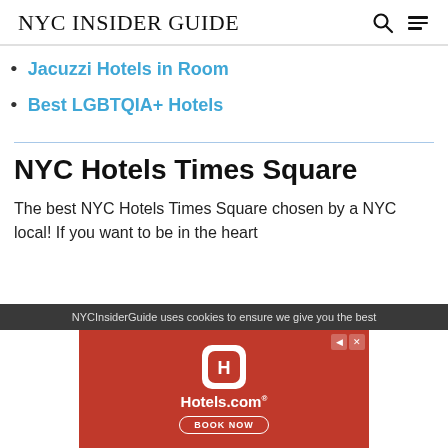NYC INSIDER GUIDE
Jacuzzi Hotels in Room
Best LGBTQIA+ Hotels
NYC Hotels Times Square
The best NYC Hotels Times Square chosen by a NYC local! If you want to be in the heart
NYCInsiderGuide uses cookies to ensure we give you the best
[Figure (screenshot): Hotels.com advertisement banner with red background, Hotels.com logo icon, Hotels.com text, and BOOK NOW button]